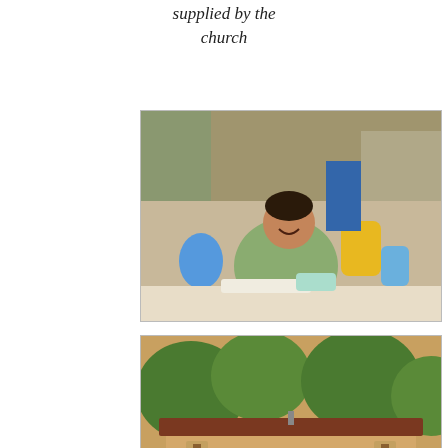supplied by the church
[Figure (photo): Photo of a woman smiling, surrounded by soap and salt products including blue and yellow containers, at an outdoor market or stall in a village setting.]
selling soap and salt in the village
[Figure (photo): Photo of a small village church building with a brown roof, beige/clay walls, a dark doorway entrance, and trees visible behind it.]
village church of the